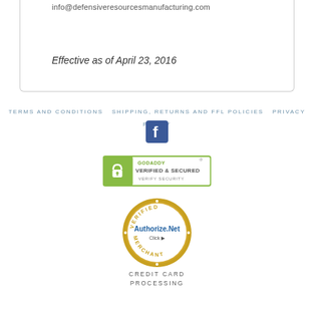info@defensiveresourcesmanufacturing.com
Effective as of April 23, 2016
TERMS AND CONDITIONS   SHIPPING, RETURNS AND FFL POLICIES   PRIVACY POLICY
[Figure (logo): Facebook icon - blue square with white 'f' letter]
[Figure (logo): GoDaddy Verified & Secured badge - green border with padlock icon and text 'VERIFIED & SECURED VERIFY SECURITY']
[Figure (logo): Authorize.Net Verified Merchant circular badge with 'VERIFIED', 'Authorize.Net Click', 'MERCHANT' text]
Credit Card Processing